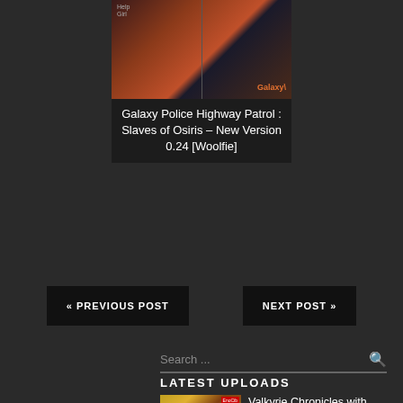[Figure (photo): Game thumbnail split image showing space/galaxy nebula visuals with 'Galaxy' orange label and small badge text top-left]
Galaxy Police Highway Patrol : Slaves of Osiris – New Version 0.24 [Woolfie]
« PREVIOUS POST
NEXT POST »
Search ...
LATEST UPLOADS
[Figure (photo): Thumbnail of Valkyrie Chronicles game mod image]
Valkyrie Chronicles with Caciotta Mod – Version